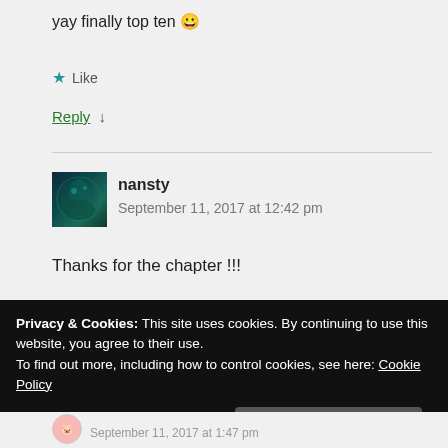yay finally top ten 😀
★ Like
Reply ↓
[Figure (photo): Dark teal/green themed avatar image for user nansty]
nansty
September 11, 2017 at 12:42 pm
Thanks for the chapter !!!
Privacy & Cookies: This site uses cookies. By continuing to use this website, you agree to their use.
To find out more, including how to control cookies, see here: Cookie Policy
Close and accept
September 11, 2017 at 1:47 pm